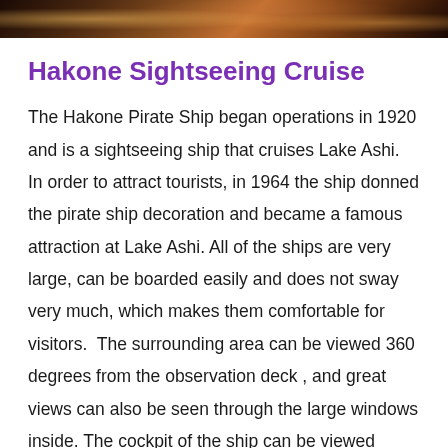[Figure (photo): A cropped photo strip showing a colorful scene, likely of the Hakone Pirate Ship or Lake Ashi scenery]
Hakone Sightseeing Cruise
The Hakone Pirate Ship began operations in 1920 and is a sightseeing ship that cruises Lake Ashi.  In order to attract tourists, in 1964 the ship donned the pirate ship decoration and became a famous attraction at Lake Ashi. All of the ships are very large, can be boarded easily and does not sway very much, which makes them comfortable for visitors.  The surrounding area can be viewed 360 degrees from the observation deck , and great views can also be seen through the large windows inside. The cockpit of the ship can be viewed through a glass window.  Visitors can stand behind the cockpit and get a feel for what the captain's view would be.  The Hakone Pirate Ship is a great experience for families with